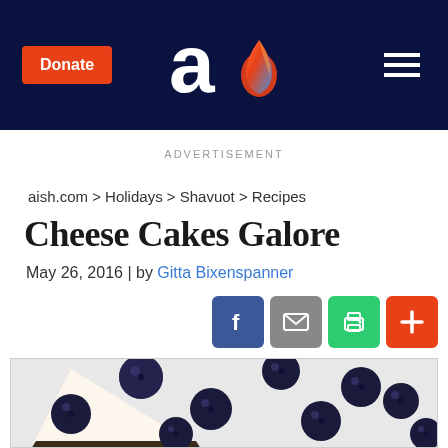Donate | aish.com logo | hamburger menu
ADVERTISEMENT
aish.com > Holidays > Shavuot > Recipes
Cheese Cakes Galore
May 26, 2016 | by Gitta Bixenspanner
[Figure (other): Social sharing icons: Facebook (blue), Email (gray), Print (green), Plus/Add (orange-red)]
[Figure (photo): Close-up photo of a slice of cheesecake surrounded by fresh blueberries on a white surface]